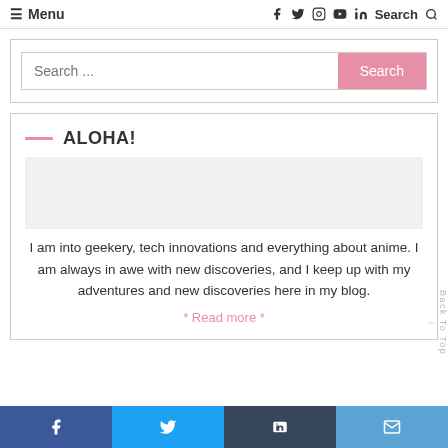≡ Menu  [social icons: facebook, twitter, instagram, youtube, linkedin]  Search 🔍
Search ...
ALOHA!
I am into geekery, tech innovations and everything about anime. I am always in awe with new discoveries, and I keep up with my adventures and new discoveries here in my blog.
* Read more *